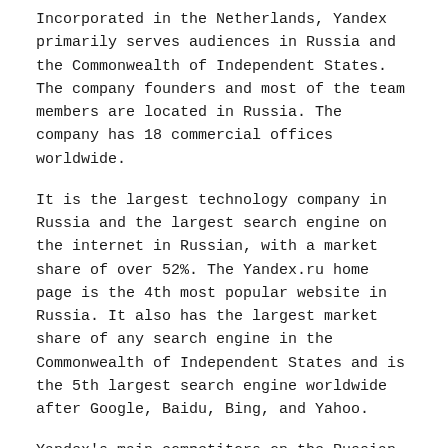Incorporated in the Netherlands, Yandex primarily serves audiences in Russia and the Commonwealth of Independent States. The company founders and most of the team members are located in Russia. The company has 18 commercial offices worldwide.
It is the largest technology company in Russia and the largest search engine on the internet in Russian, with a market share of over 52%. The Yandex.ru home page is the 4th most popular website in Russia. It also has the largest market share of any search engine in the Commonwealth of Independent States and is the 5th largest search engine worldwide after Google, Baidu, Bing, and Yahoo.
Yandex's main competitors on the Russian market are Google, Mail.ru, and Rambler.
According to the company, one of its biggest advantages